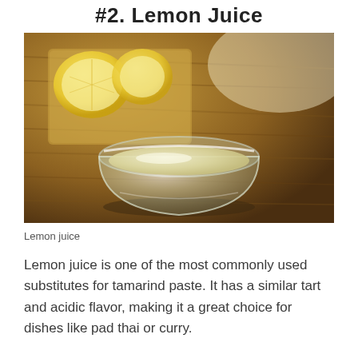#2. Lemon Juice
[Figure (photo): A glass bowl filled with lemon juice on a wooden surface, with cut lemon halves in the background]
Lemon juice
Lemon juice is one of the most commonly used substitutes for tamarind paste. It has a similar tart and acidic flavor, making it a great choice for dishes like pad thai or curry.
You can use the same amount of lemon juice as